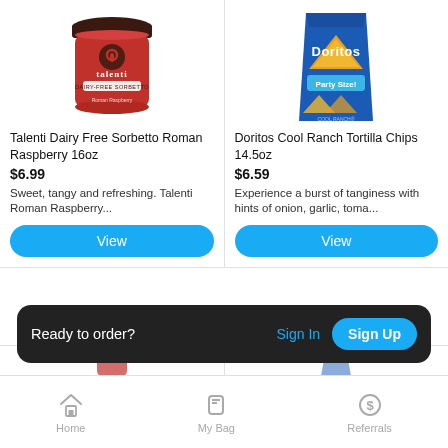[Figure (photo): Talenti Dairy Free Sorbetto Roman Raspberry 16oz container, red with dark brown lid]
Talenti Dairy Free Sorbetto Roman Raspberry 16oz
$6.99
Sweet, tangy and refreshing. Talenti Roman Raspberry...
[Figure (photo): Doritos Cool Ranch Tortilla Chips 14.5oz Party Size blue bag]
Doritos Cool Ranch Tortilla Chips 14.5oz
$6.59
Experience a burst of tanginess with hints of onion, garlic, toma...
Ready to order? Sign In Sign Up
Home  My Bag  Referrals